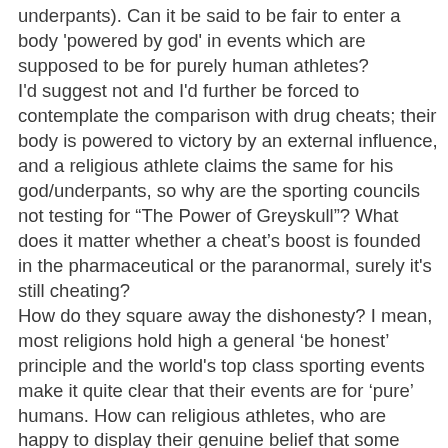underpants). Can it be said to be fair to enter a body 'powered by god' in events which are supposed to be for purely human athletes? I'd suggest not and I'd further be forced to contemplate the comparison with drug cheats; their body is powered to victory by an external influence, and a religious athlete claims the same for his god/underpants, so why are the sporting councils not testing for “The Power of Greyskull”? What does it matter whether a cheat’s boost is founded in the pharmaceutical or the paranormal, surely it's still cheating? How do they square away the dishonesty? I mean, most religions hold high a general ‘be honest’ principle and the world's top class sporting events make it quite clear that their events are for ‘pure’ humans. How can religious athletes, who are happy to display their genuine belief that some magically force has had a hand in there performance, not notice that this admission means they are not performing as unassisted ‘pure’ humans? Come to that, how have the doping authorities not noticed? This may be seen I think as evidence of the all pervasive ethos of magical thinking to which we atheists are subjected